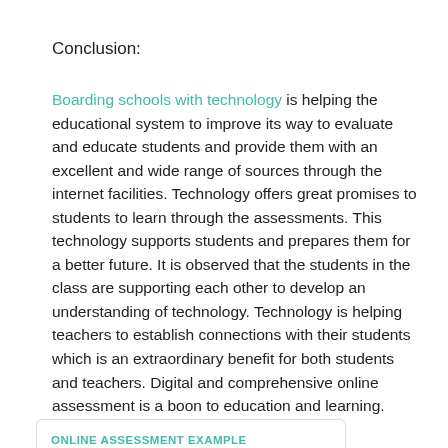Conclusion:
Boarding schools with technology is helping the educational system to improve its way to evaluate and educate students and provide them with an excellent and wide range of sources through the internet facilities. Technology offers great promises to students to learn through the assessments. This technology supports students and prepares them for a better future. It is observed that the students in the class are supporting each other to develop an understanding of technology. Technology is helping teachers to establish connections with their students which is an extraordinary benefit for both students and teachers. Digital and comprehensive online assessment is a boon to education and learning.
ONLINE ASSESSMENT EXAMPLE